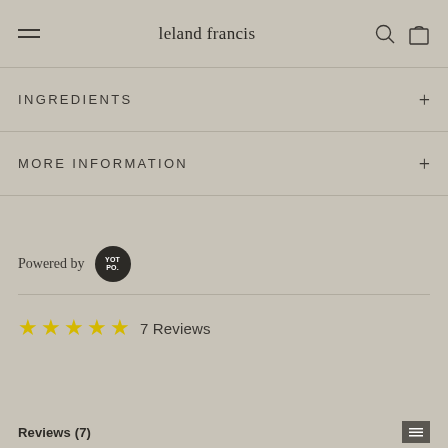leland francis
INGREDIENTS
MORE INFORMATION
Powered by YOTPO.
★★★★★ 7 Reviews
Reviews (7)